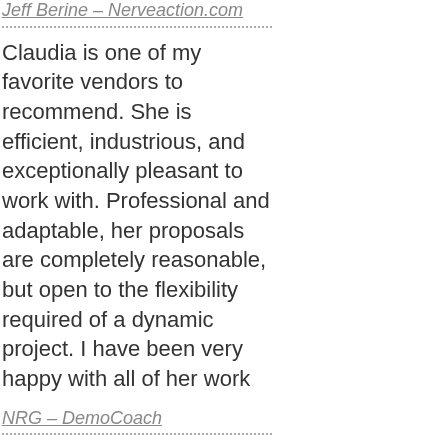Jeff Berine – Nerveaction.com
Claudia is one of my favorite vendors to recommend. She is efficient, industrious, and exceptionally pleasant to work with. Professional and adaptable, her proposals are completely reasonable, but open to the flexibility required of a dynamic project. I have been very happy with all of her work
NRG – DemoCoach
If there were a rating higher than 10, Cricava would get it from me…Amazing job on my project and in record time. I would highly